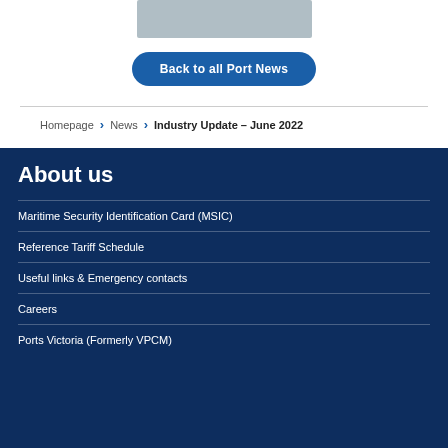[Figure (photo): Partial photo of a person in a suit, cropped at top]
Back to all Port News
Homepage > News > Industry Update – June 2022
About us
Maritime Security Identification Card (MSIC)
Reference Tariff Schedule
Useful links & Emergency contacts
Careers
Ports Victoria (Formerly VPCM)